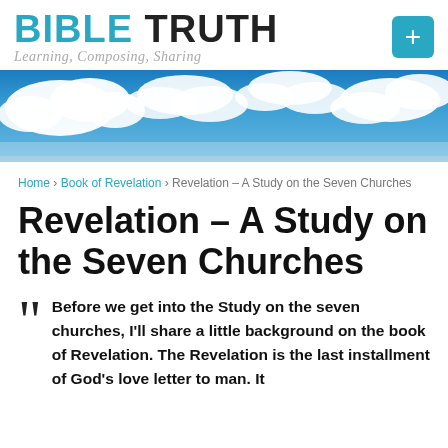BIBLE TRUTH — Learning, Composing, Sharing
[Figure (photo): Blue sky with white clouds, used as a decorative banner image.]
Home › Book of Revelation › Revelation – A Study on the Seven Churches
Revelation – A Study on the Seven Churches
Before we get into the Study on the seven churches, I'll share a little background on the book of Revelation. The Revelation is the last installment of God's love letter to man. It